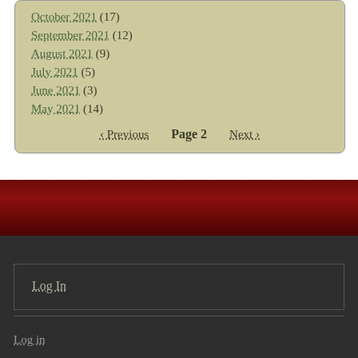October 2021 (17)
September 2021 (12)
August 2021 (9)
July 2021 (5)
June 2021 (3)
May 2021 (14)
‹ Previous   Page 2   Next ›
Log In
Log in